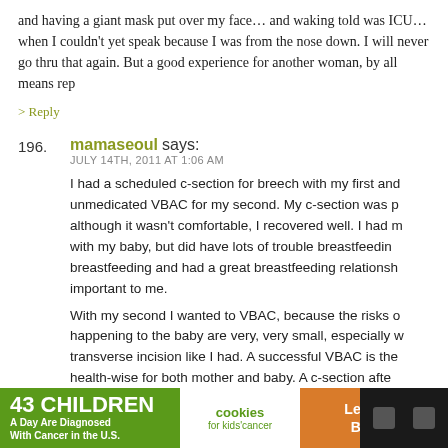and having a giant mask put over my face... and waking told was ICU... when I couldn't yet speak because I was from the nose down. I will never go thru that again. But a good experience for another woman, by all means rep
> Reply
196. mamaseoul says: JULY 14TH, 2011 AT 1:06 AM
I had a scheduled c-section for breech with my first and unmedicated VBAC for my second. My c-section was p although it wasn't comfortable, I recovered well. I had m with my baby, but did have lots of trouble breastfeedin breastfeeding and had a great breastfeeding relationsh important to me.
With my second I wanted to VBAC, because the risks o happening to the baby are very, very small, especially w transverse incision like I had. A successful VBAC is the health-wise for both mother and baby. A c-section afte
[Figure (screenshot): Advertisement banner: '43 CHILDREN A Day Are Diagnosed With Cancer in the U.S.' with cookies for kids' cancer logo and 'Let's Get Baking' call to action on orange background]